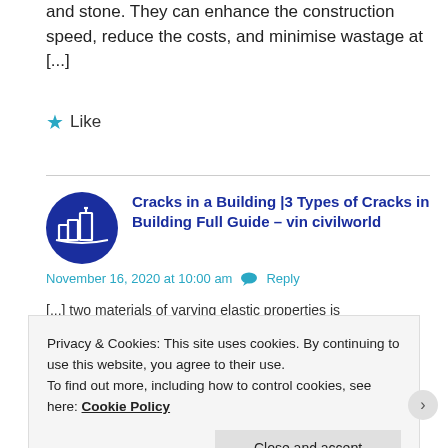and stone. They can enhance the construction speed, reduce the costs, and minimise wastage at [...]
★ Like
[Figure (logo): Blue circular logo with white building/city skyline icon]
Cracks in a Building |3 Types of Cracks in Building Full Guide – vin civilworld
November 16, 2020 at 10:00 am  💬 Reply
[...] two materials of varying elastic properties is
Privacy & Cookies: This site uses cookies. By continuing to use this website, you agree to their use.
To find out more, including how to control cookies, see here: Cookie Policy
Close and accept